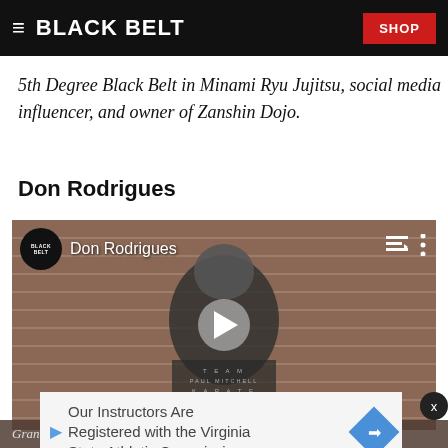BLACK BELT | SHOP
5th Degree Black Belt in Minami Ryu Jujitsu, social media influencer, and owner of Zanshin Dojo.
Don Rodrigues
[Figure (screenshot): Video thumbnail showing Don Rodrigues, a bald man with a beard wearing a Team Paul Mitchell Karate shirt, standing in front of a brick wall. Black Belt logo and name label visible in upper left. Play button in center.]
Our Instructors Are Registered with the Virginia State Athletic Commission.
Gran... r of